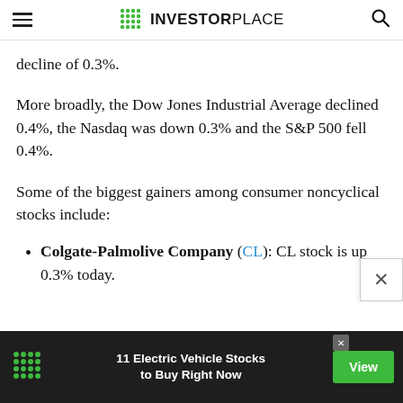INVESTORPLACE
decline of 0.3%.
More broadly, the Dow Jones Industrial Average declined 0.4%, the Nasdaq was down 0.3% and the S&P 500 fell 0.4%.
Some of the biggest gainers among consumer noncyclical stocks include:
Colgate-Palmolive Company (CL): CL stock is up 0.3% today.
[Figure (infographic): InvestorPlace advertisement banner: '11 Electric Vehicle Stocks to Buy Right Now' with a green View button on a dark background]